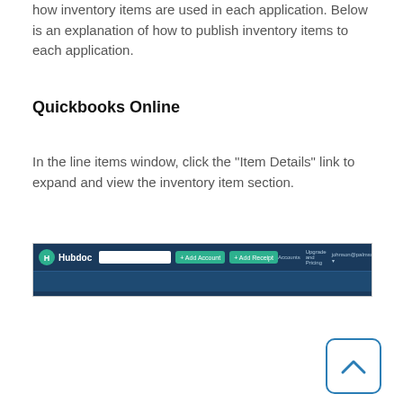how inventory items are used in each application. Below is an explanation of how to publish inventory items to each application.
Quickbooks Online
In the line items window, click the "Item Details" link to expand and view the inventory item section.
[Figure (screenshot): Hubdoc application navigation bar screenshot showing the Hubdoc logo, search box, Add Account and Add Receipt buttons, and navigation links for Accounts, Upgrade and Pricing, and user email.]
[Figure (other): Scroll-to-top button with upward chevron icon, styled with a blue border and rounded corners.]